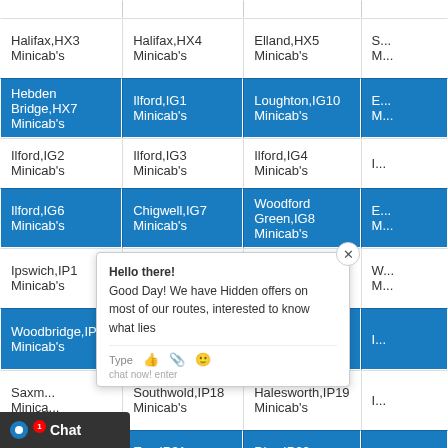| Halifax,HX3 Minicab's | Halifax,HX4 Minicab's | Elland,HX5 Minicab's | S... M... |
| Hebden Bridge,HX7 Minicab's | Ilford,IG1 Minicab's | Loughton,IG10 Minicab's | E... M... |
| Ilford,IG2 Minicab's | Ilford,IG3 Minicab's | Ilford,IG4 Minicab's | I... |
| Ilford,IG6 Minicab's | Chigwell,IG7 Minicab's | Woodford Green,IG8 Minicab's | E... M... |
| Ipswich,IP1 Minicab's | Ipswich,IP10 Minicab's | Felixstowe,IP11 Minicab's | W... M... |
| Woodbridge,IP13 Minicab's | Stowmarket,IP14 Minicab's | Aldeburgh,IP15 Minicab's | I... |
| Saxm... Minica... | Southwold,IP18 Minicab's | Halesworth,IP19 Minicab's | I... |
| Harle... Minica... | Eye,IP21 Minicab's | Diss,IP22 Minicab's | E... |
| Thetf... Minica... | Thetford,IP25 Minicab's | Thetford,IP26 Minicab's | B... |
| IP28 Minicab's | Bury Saint Edmunds,IP29 Minicab's | Ipswich,IP3 Minicab's | E... |
Hello there! Good Day! We have Hidden offers on most of our routes, interested to know what lies
Chat